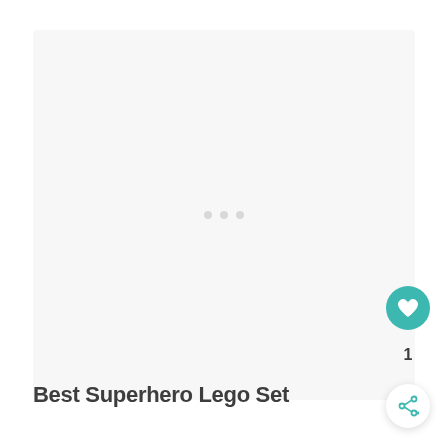[Figure (other): Large light gray placeholder image area with three faint dots in the center]
Best Superhero Lego Set